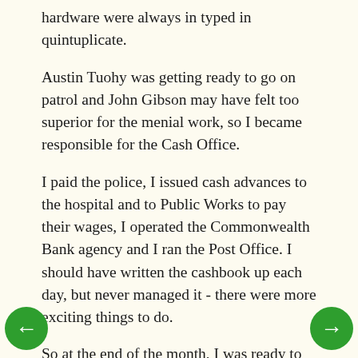hardware were always in typed in quintuplicate.
Austin Tuohy was getting ready to go on patrol and John Gibson may have felt too superior for the menial work, so I became responsible for the Cash Office.
I paid the police, I issued cash advances to the hospital and to Public Works to pay their wages, I operated the Commonwealth Bank agency and I ran the Post Office. I should have written the cashbook up each day, but never managed it - there were more exciting things to do.
So at the end of the month, I was ready to panic. I had to prepare the tear-out originals of the cashbook, pay vouchers, receipts and schedules